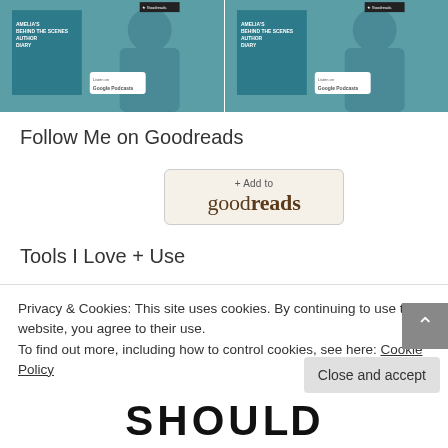[Figure (photo): Two side-by-side thumbnail images of a book (Amelia's Behind the Scenes Author Diary) with a person, teal background, and Google Podcasts badge]
Follow Me on Goodreads
[Figure (other): + Add to goodreads button with beige/tan background and rounded border]
Tools I Love + Use
The following recommended tools contain affiliate links.
Privacy & Cookies: This site uses cookies. By continuing to use this website, you agree to their use.
To find out more, including how to control cookies, see here: Cookie Policy
[Figure (photo): Partially visible bottom image showing the word SHOULD in large bold letters]